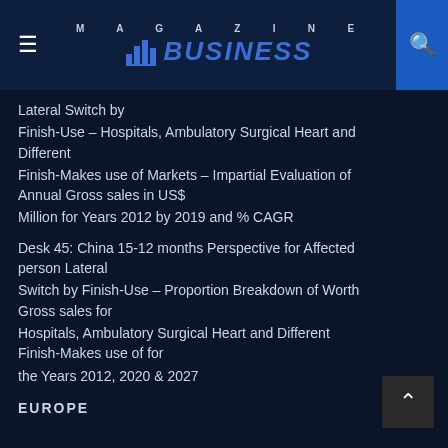MAGAZINE BUSINESS
Lateral Switch by
Finish-Use – Hospitals, Ambulatory Surgical Heart and Different
Finish-Makes use of Markets – Impartial Evaluation of Annual Gross sales in US$
Million for Years 2012 by 2019 and % CAGR
Desk 45: China 15-12 months Perspective for Affected person Lateral
Switch by Finish-Use – Proportion Breakdown of Worth Gross sales for
Hospitals, Ambulatory Surgical Heart and Different Finish-Makes use of for
the Years 2012, 2020 & 2027
EUROPE